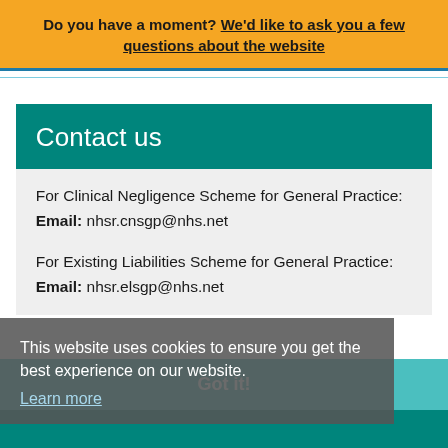Do you have a moment? We'd like to ask you a few questions about the website
Contact us
For Clinical Negligence Scheme for General Practice:
Email: nhsr.cnsgp@nhs.net
For Existing Liabilities Scheme for General Practice:
Email: nhsr.elsgp@nhs.net
This website uses cookies to ensure you get the best experience on our website.
Learn more
Got it!